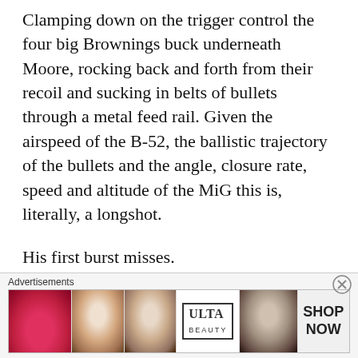Clamping down on the trigger control the four big Brownings buck underneath Moore, rocking back and forth from their recoil and sucking in belts of bullets through a metal feed rail. Given the airspeed of the B-52, the ballistic trajectory of the bullets and the angle, closure rate, speed and altitude of the MiG this is, literally, a longshot.
His first burst misses.
Moore steadies himself as though it mattered in the wagging tail of the squirrely B-52. He sends another streak of .50 cal tracers arcing in front of the MiG.
Nothing.
[Figure (photo): Advertisements banner at bottom of page showing ULTA beauty advertisement with images of lips, makeup brush, eye, ULTA logo, eye, and SHOP NOW text]